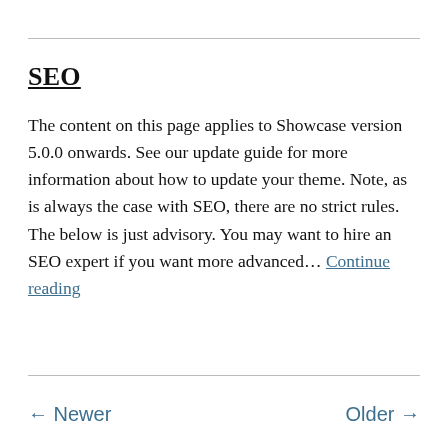SEO
The content on this page applies to Showcase version 5.0.0 onwards. See our update guide for more information about how to update your theme. Note, as is always the case with SEO, there are no strict rules. The below is just advisory. You may want to hire an SEO expert if you want more advanced... Continue reading
← Newer    Older →